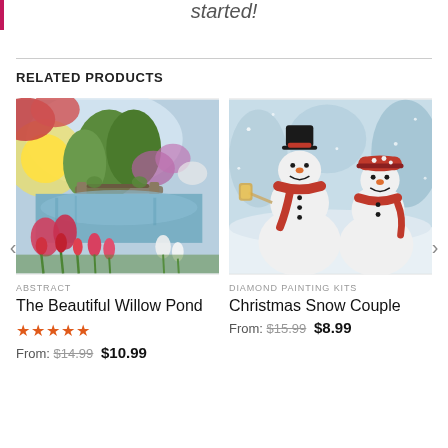started!
RELATED PRODUCTS
[Figure (photo): Painting of a colorful garden with a pond, bridge, and blooming flowers including tulips and irises]
ABSTRACT
The Beautiful Willow Pond
★★★★★ From: $14.99 $10.99
[Figure (photo): Illustration of two smiling snowmen wearing red scarves and hats, one with a top hat holding a lantern, set in a snowy scene]
DIAMOND PAINTING KITS
Christmas Snow Couple
From: $15.99 $8.99